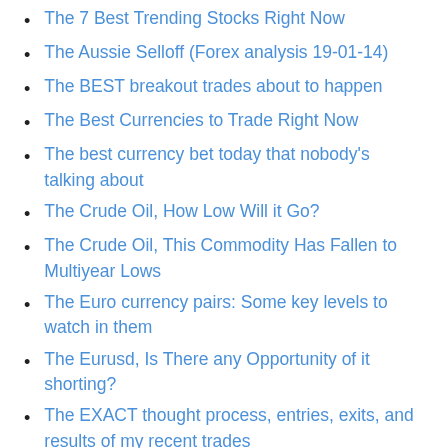The 7 Best Trending Stocks Right Now
The Aussie Selloff (Forex analysis 19-01-14)
The BEST breakout trades about to happen
The Best Currencies to Trade Right Now
The best currency bet today that nobody's talking about
The Crude Oil, How Low Will it Go?
The Crude Oil, This Commodity Has Fallen to Multiyear Lows
The Euro currency pairs: Some key levels to watch in them
The Eurusd, Is There any Opportunity of it shorting?
The EXACT thought process, entries, exits, and results of my recent trades